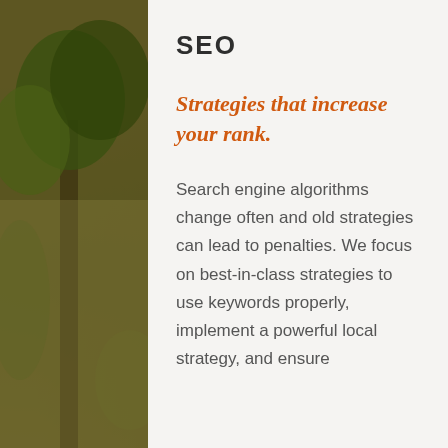[Figure (photo): Outdoor background with trees and foliage in muted olive/golden tones, visible on the left and right edges of the page]
SEO
Strategies that increase your rank.
Search engine algorithms change often and old strategies can lead to penalties. We focus on best-in-class strategies to use keywords properly, implement a powerful local strategy, and ensure